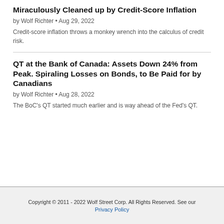Miraculously Cleaned up by Credit-Score Inflation
by Wolf Richter • Aug 29, 2022
Credit-score inflation throws a monkey wrench into the calculus of credit risk.
QT at the Bank of Canada: Assets Down 24% from Peak. Spiraling Losses on Bonds, to Be Paid for by Canadians
by Wolf Richter • Aug 28, 2022
The BoC's QT started much earlier and is way ahead of the Fed's QT.
Copyright © 2011 - 2022 Wolf Street Corp. All Rights Reserved. See our Privacy Policy